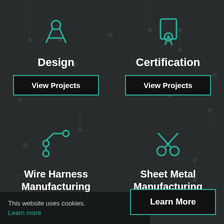[Figure (illustration): Teal compass/design tool icon]
Design
View Projects
[Figure (illustration): Teal certificate/document icon]
Certification
View Projects
[Figure (illustration): Teal wire harness / branching lines icon]
Wire Harness Manufacturing
[Figure (illustration): Teal scissors icon]
Sheet Metal Manufacturing
Learn More
This website uses cookies. Learn more
Learn More